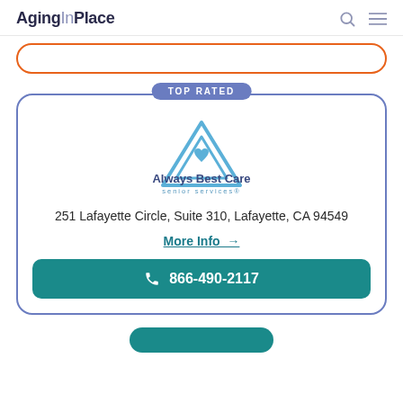AgingInPlace
[Figure (logo): Always Best Care Senior Services logo — blue triangle with heart, bold dark blue brand name and light blue 'senior services' subtitle]
251 Lafayette Circle, Suite 310, Lafayette, CA 94549
More Info →
866-490-2117